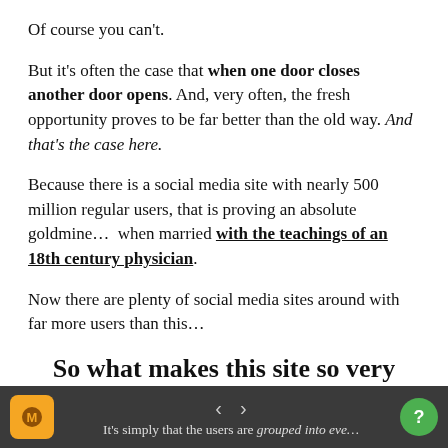Of course you can't.
But it's often the case that when one door closes another door opens. And, very often, the fresh opportunity proves to be far better than the old way. And that's the case here.
Because there is a social media site with nearly 500 million regular users, that is proving an absolute goldmine…  when married with the teachings of an 18th century physician.
Now there are plenty of social media sites around with far more users than this…
So what makes this site so very special?
It's simply that the users are grouped into eve…